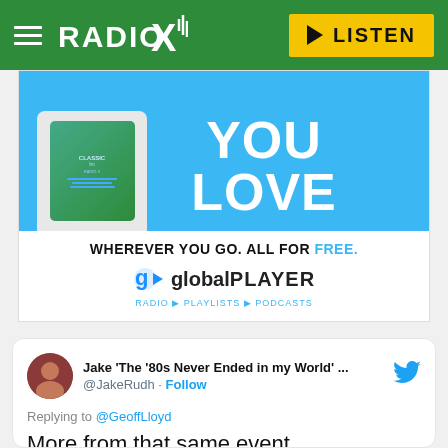Radio X — LISTEN
[Figure (screenshot): Global Player advertisement banner: blue section with 'YOU LOVE' text and a phone graphic, white section below with text 'WHEREVER YOU GO. ALL FOR FREE.' and Global Player logo with RADIO, PLAYLISTS, PODCASTS links]
[Figure (screenshot): Tweet from Jake 'The '80s Never Ended in my World' ... @JakeRudh replying to @GeoffLloyd: 'More from that same event.' with two vintage photos below]